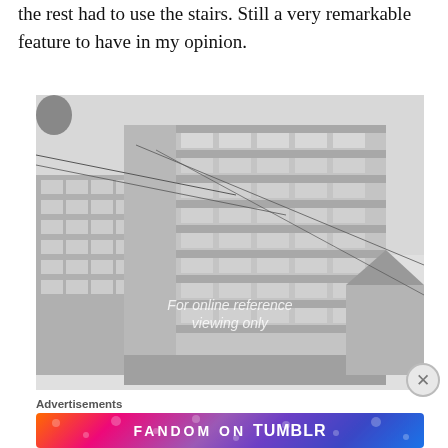the rest had to use the stairs. Still a very remarkable feature to have in my opinion.
[Figure (photo): Black and white photograph of a multi-story modernist building with horizontal banded windows and a tall vertical concrete corner element. Other buildings and utility lines visible in background. Watermark reads 'For online reference viewing only'.]
Advertisements
[Figure (other): Advertisement banner: FANDOM ON tumblr with colorful gradient background]